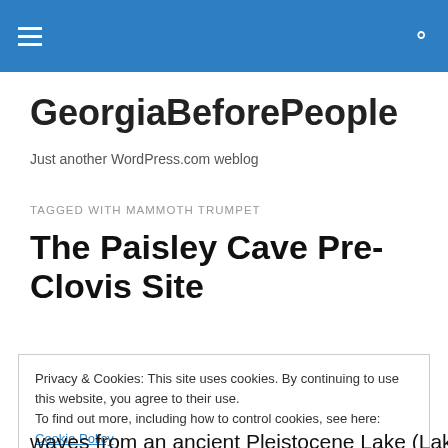GeorgiaBeforePeople
Just another WordPress.com weblog
TAGGED WITH MAMMOTH TRUMPET
The Paisley Cave Pre-Clovis Site
Privacy & Cookies: This site uses cookies. By continuing to use this website, you agree to their use.
To find out more, including how to control cookies, see here: Cookie Policy
waves from an ancient Pleistocene Lake (Lake